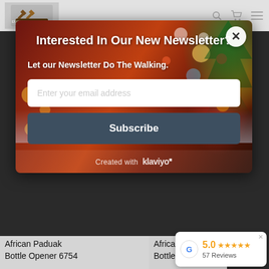[Figure (screenshot): Website navigation bar with logo and icons]
Interested In Our New Newsletter?
Let our Newsletter Do The Walking.
Enter your email address
Subscribe
Created with klaviyo
African Paduak Bottle Opener 6754
African Pa... Bottle Ope...
5.0 ★★★★★ 57 Reviews